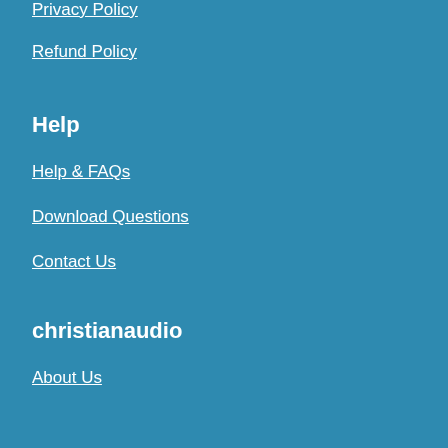Privacy Policy
Refund Policy
Help
Help & FAQs
Download Questions
Contact Us
christianaudio
About Us